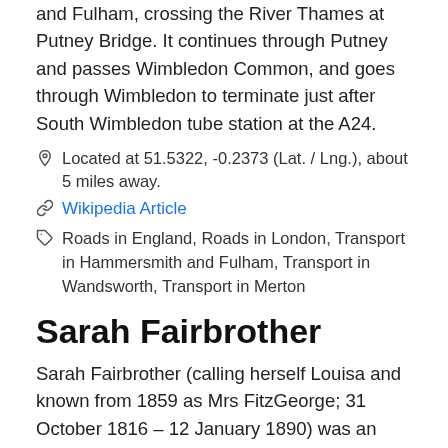and Fulham, crossing the River Thames at Putney Bridge. It continues through Putney and passes Wimbledon Common, and goes through Wimbledon to terminate just after South Wimbledon tube station at the A24.
Located at 51.5322, -0.2373 (Lat. / Lng.), about 5 miles away.
Wikipedia Article
Roads in England, Roads in London, Transport in Hammersmith and Fulham, Transport in Wandsworth, Transport in Merton
Sarah Fairbrother
Sarah Fairbrother (calling herself Louisa and known from 1859 as Mrs FitzGeorge; 31 October 1816 – 12 January 1890) was an English actress and the mistress of Prince George, Duke of Cambridge, a male-line grandson of George III. As the couple married in contravention of the Royal Marriages Act 1772, their marriage was not recognized under the law.
Located at 51.5288, -0.22738 (Lat. / Lng.), about 5 miles away.